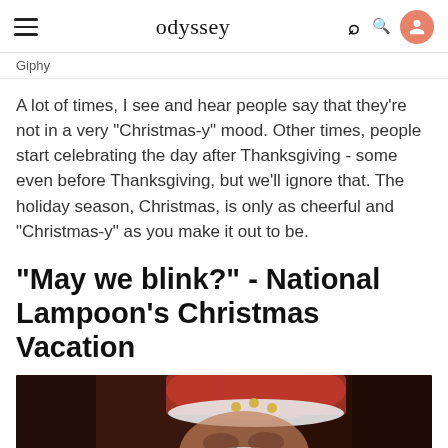odyssey
Giphy
A lot of times, I see and hear people say that they're not in a very "Christmas-y" mood. Other times, people start celebrating the day after Thanksgiving - some even before Thanksgiving, but we'll ignore that. The holiday season, Christmas, is only as cheerful and "Christmas-y" as you make it out to be.
"May we blink?" - National Lampoon's Christmas Vacation
[Figure (photo): Still image from National Lampoon's Christmas Vacation, showing a figure in a Santa Claus hat with white beard against a dark background]